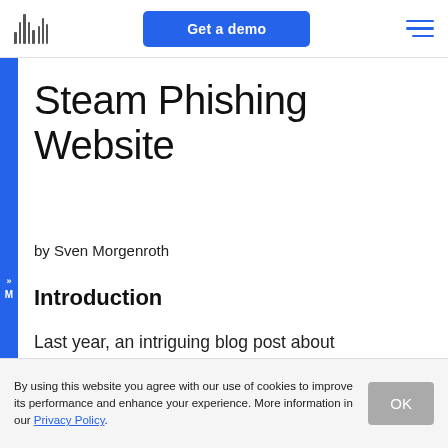Get a demo
Steam Phishing Website
by Sven Morgenroth
Introduction
Last year, an intriguing blog post about an innovative phishing technique was
By using this website you agree with our use of cookies to improve its performance and enhance your experience. More information in our Privacy Policy.